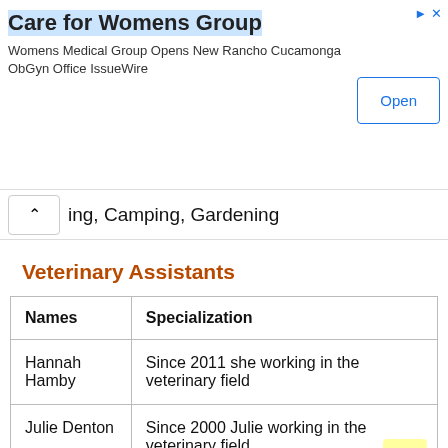[Figure (screenshot): Advertisement banner for 'Care for Womens Group'. Title: 'Care for Womens Group'. Subtitle: 'Womens Medical Group Opens New Rancho Cucamonga ObGyn Office IssueWire'. Button labeled 'Open' on the right.]
ing, Camping, Gardening
Veterinary Assistants
| Names | Specialization |
| --- | --- |
| Hannah Hamby | Since 2011 she working in the veterinary field |
| Julie Denton | Since 2000 Julie working in the veterinary field |